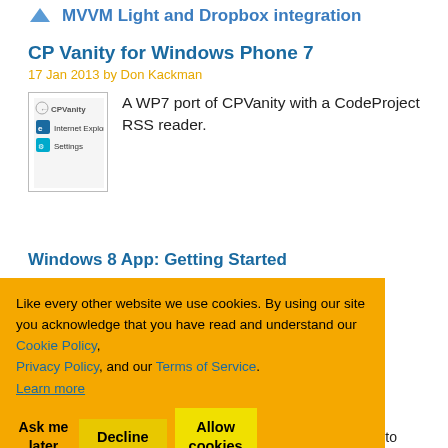MVVM Light and Dropbox integration
CP Vanity for Windows Phone 7
17 Jan 2013 by Don Kackman
[Figure (screenshot): Screenshot of a Windows Phone 7 app showing CPVanity interface with Internet Explorer and Settings icons]
A WP7 port of CPVanity with a CodeProject RSS reader.
Windows 8 App: Getting Started
dows 8 Metro vaScript
o Application
y experiences e-driven Windows Phone app to Windows 8
Like every other website we use cookies. By using our site you acknowledge that you have read and understand our Cookie Policy, Privacy Policy, and our Terms of Service.
Learn more
Ask me later
Decline
Allow cookies